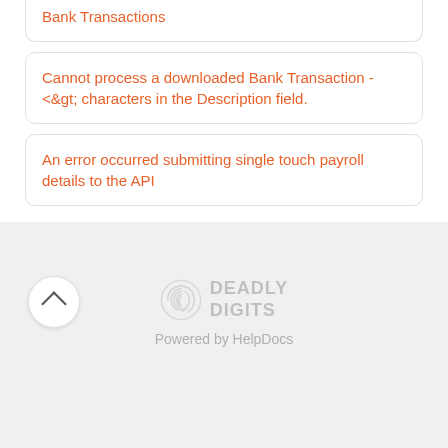Bank Transactions
Cannot process a downloaded Bank Transaction - &lt;&gt; characters in the Description field.
An error occurred submitting single touch payroll details to the API
[Figure (logo): Deadly Digits logo with fingerprint icon and text 'DEADLY DIGITS']
Powered by HelpDocs